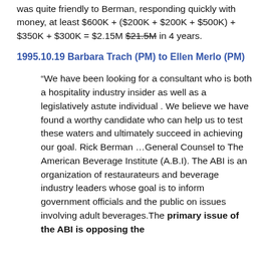was quite friendly to Berman, responding quickly with money, at least $600K + ($200K + $200K + $500K) + $350K + $300K = $2.15M $21.5M in 4 years.
1995.10.19 Barbara Trach (PM) to Ellen Merlo (PM)
“We have been looking for a consultant who is both a hospitality industry insider as well as a legislatively astute individual . We believe we have found a worthy candidate who can help us to test these waters and ultimately succeed in achieving our goal. Rick Berman …General Counsel to The American Beverage Institute (A.B.I). The ABI is an organization of restaurateurs and beverage industry leaders whose goal is to inform government officials and the public on issues involving adult beverages.The primary issue of the ABI is opposing the